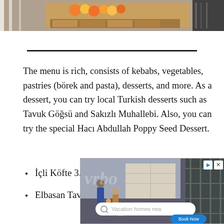[Figure (photo): Top portion of a food/restaurant display photo showing colorful fruits and food items on shelves or counter]
The menu is rich, consists of kebabs, vegetables, pastries (börek and pasta), desserts, and more. As a dessert, you can try local Turkish desserts such as Tavuk Göğsü and Sakızlı Muhallebi. Also, you can try the special Hacı Abdullah Poppy Seed Dessert.
İçli Köfte 3.2 USD
Elbasan Tava 6.1 USD
[Figure (screenshot): Advertisement banner showing vacation homes search with 'Book Now' button and logo text]